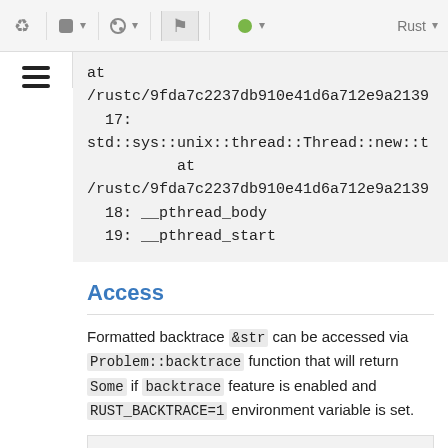[Figure (screenshot): Browser/IDE toolbar with navigation icons and language selector showing Rust]
[Figure (screenshot): Hamburger menu icon on left sidebar]
at
/rustc/9fda7c2237db910e41d6a712e9a2139
17:
std::sys::unix::thread::Thread::new::t
at
/rustc/9fda7c2237db910e41d6a712e9a2139
18: __pthread_body
19: __pthread_start
Access
Formatted backtrace &str can be accessed via Problem::backtrace function that will return Some if backtrace feature is enabled and RUST_BACKTRACE=1 environment variable is set.
use problem::prelude::*;

Problem::from_error("foo").backtrace()